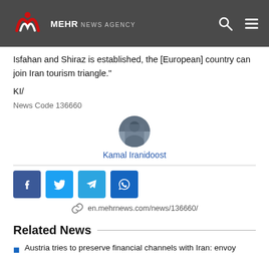MEHR NEWS AGENCY
Isfahan and Shiraz is established, the [European] country can join Iran tourism triangle."
KI/
News Code 136660
[Figure (photo): Author avatar photo for Kamal Iranidoost]
Kamal Iranidoost
[Figure (infographic): Social sharing buttons: Facebook, Twitter, Telegram, WhatsApp]
en.mehrnews.com/news/136660/
Related News
Austria tries to preserve financial channels with Iran: envoy